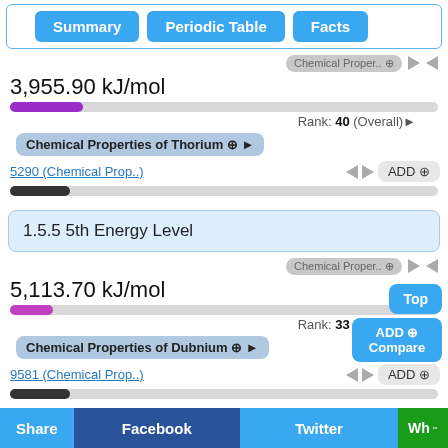Summary | Periodic Table | Facts
Chemical Proper..
3,955.90 kJ/mol
Rank: 40 (Overall)
Chemical Properties of Thorium
5290 (Chemical Prop..)
ADD
1.5.5 5th Energy Level
Chemical Proper..
5,113.70 kJ/mol
Rank: 33 (Overall)
Chemical Properties of Dubnium
9581 (Chemical Prop..)
ADD
Top
ADD Compare
1.5.6 6th Energy Level
Chemical Proper..
Not Available
Share | Facebook | Twitter | Wh..